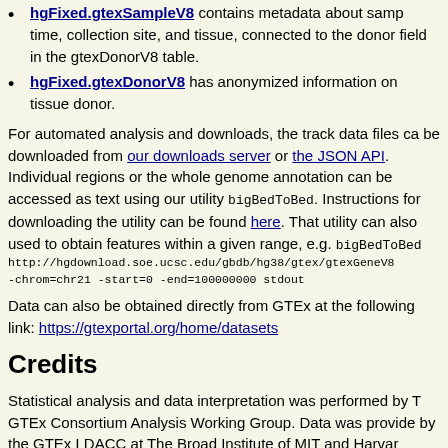hgFixed.gtexSampleV8 contains metadata about sample collection time, collection site, and tissue, connected to the donor field in the gtexDonorV8 table.
hgFixed.gtexDonorV8 has anonymized information on tissue donor.
For automated analysis and downloads, the track data files can be downloaded from our downloads server or the JSON API. Individual regions or the whole genome annotation can be accessed as text using our utility bigBedToBed. Instructions for downloading the utility can be found here. That utility can also be used to obtain features within a given range, e.g. bigBedToBed http://hgdownload.soe.ucsc.edu/gbdb/hg38/gtex/gtexGeneV8... -chrom=chr21 -start=0 -end=100000000 stdout
Data can also be obtained directly from GTEx at the following link: https://gtexportal.org/home/datasets
Credits
Statistical analysis and data interpretation was performed by The GTEx Consortium Analysis Working Group. Data was provided by the GTEx LDACC at The Broad Institute of MIT and Harvard...